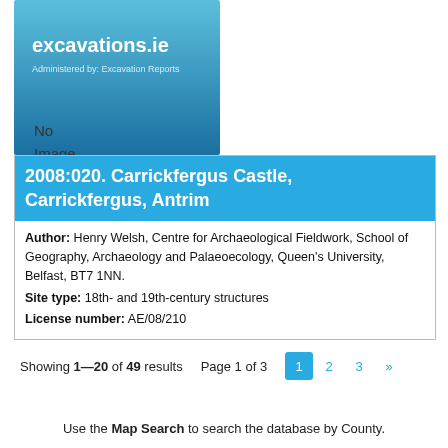[Figure (logo): excavations.ie website logo — blue gradient background with white text 'excavations.ie' and a subtitle line]
No
Image
available
2008:020. Carrickfergus Castle, Carrickfergus, Antrim
Author: Henry Welsh, Centre for Archaeological Fieldwork, School of Geography, Archaeology and Palaeoecology, Queen's University, Belfast, BT7 1NN.
Site type: 18th- and 19th-century structures
License number: AE/08/210
Showing 1—20 of 49 results    Page 1 of 3    1  2  3  »
Use the Map Search to search the database by County.